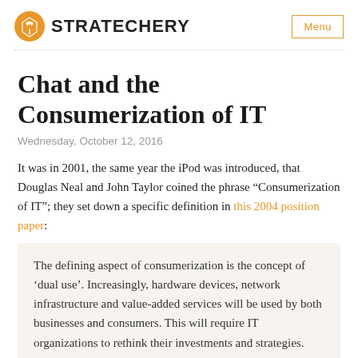STRATECHERY
Chat and the Consumerization of IT
Wednesday, October 12, 2016
It was in 2001, the same year the iPod was introduced, that Douglas Neal and John Taylor coined the phrase “Consumerization of IT”; they set down a specific definition in this 2004 position paper:
The defining aspect of consumerization is the concept of ‘dual use’. Increasingly, hardware devices, network infrastructure and value-added services will be used by both businesses and consumers. This will require IT organizations to rethink their investments and strategies.